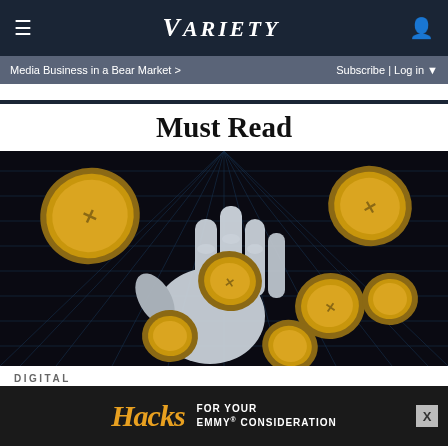VARIETY
Media Business in a Bear Market >  Subscribe | Log in
Must Read
[Figure (illustration): A robotic white hand with gold coins floating and spinning around it against a dark grid background, representing cryptocurrency or digital finance.]
DIGITAL
[Figure (other): Advertisement banner: Hacks - For Your Emmy® Consideration]